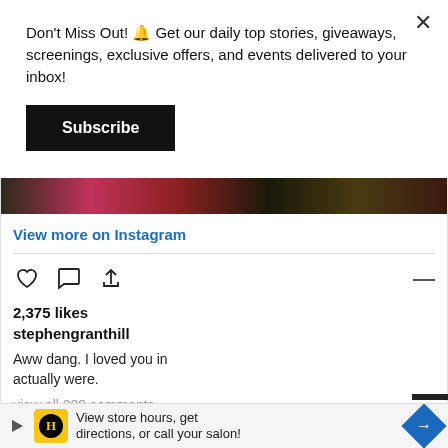Don't Miss Out! 🔔 Get our daily top stories, giveaways, screenings, exclusive offers, and events delivered to your inbox!
Subscribe
[Figure (photo): Partial colorful image strip at top of Instagram embed showing dark and pink tones]
View more on Instagram
[Figure (illustration): Instagram action icons: heart (like), comment bubble, share arrow]
2,375 likes
stephengranthill
Aww dang. I loved you in actually were.
view all 289 comments
View store hours, get directions, or call your salon!